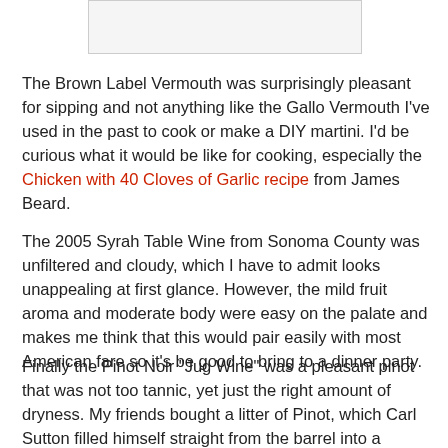[Figure (other): A rectangular image placeholder at the top of the page, shown as a light gray bordered box.]
The Brown Label Vermouth was surprisingly pleasant for sipping and not anything like the Gallo Vermouth I've used in the past to cook or make a DIY martini.  I'd be curious what it would be like for cooking, especially the Chicken with 40 Cloves of Garlic recipe from James Beard.
The 2005 Syrah Table Wine from Sonoma County was unfiltered and cloudy, which I have to admit looks unappealing at first glance.  However, the mild fruit aroma and moderate body were easy on the palate and makes me think that this would pair easily with most American fare so it's be good to bring to a dinner party.
Finally the Pinot Noir "Jug Wine" was a pleasant pinot that was not too tannic, yet just the right amount of dryness.  My friends bought a litter of Pinot, which Carl Sutton filled himself straight from the barrel into a reusable bottle with a stopper (very eco-chic!).